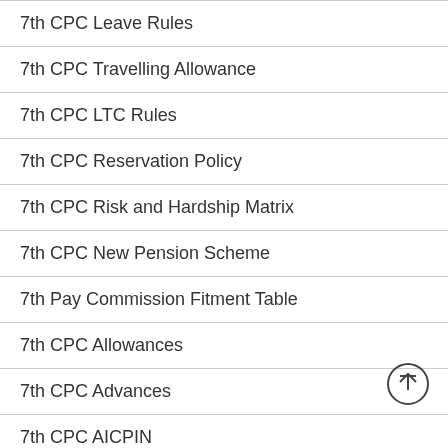7th CPC Leave Rules
7th CPC Travelling Allowance
7th CPC LTC Rules
7th CPC Reservation Policy
7th CPC Risk and Hardship Matrix
7th CPC New Pension Scheme
7th Pay Commission Fitment Table
7th CPC Allowances
7th CPC Advances
7th CPC AICPIN